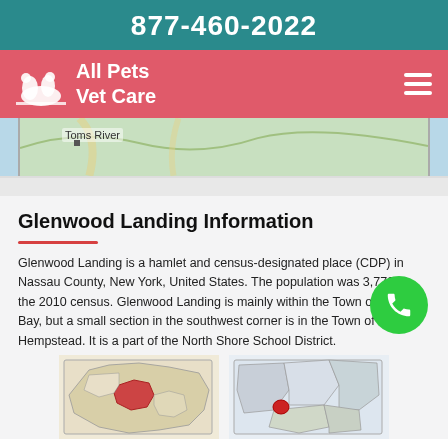877-460-2022
[Figure (logo): All Pets Vet Care logo with white silhouettes of pets on red/salmon background]
[Figure (map): Partial map showing Toms River area]
Glenwood Landing Information
Glenwood Landing is a hamlet and census-designated place (CDP) in Nassau County, New York, United States. The population was 3,779 at the 2010 census. Glenwood Landing is mainly within the Town of Oyster Bay, but a small section in the southwest corner is in the Town of North Hempstead. It is a part of the North Shore School District.
[Figure (map): Two maps showing Glenwood Landing location within Nassau County and New York State]